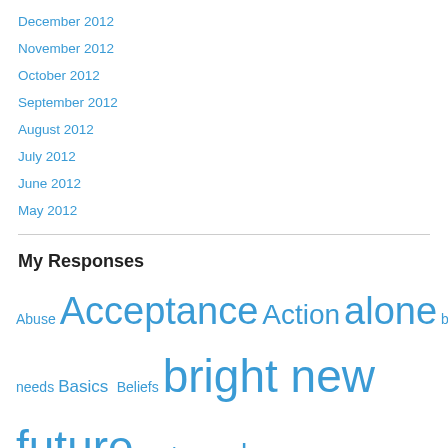December 2012
November 2012
October 2012
September 2012
August 2012
July 2012
June 2012
May 2012
My Responses
Abuse Acceptance Action alone basic needs Basics Beliefs bright new future Budget calm cancer care challenge Children of divorce climbing mountains comfort compassion connections contentment Courage decisions determination